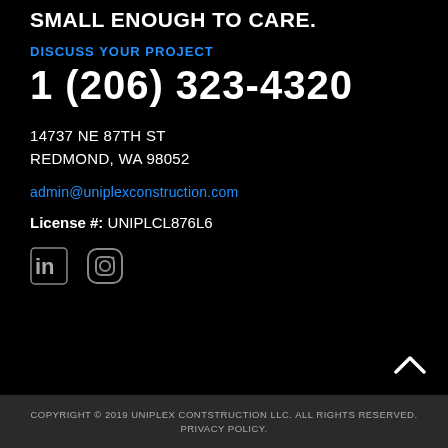SMALL ENOUGH TO CARE.
DISCUSS YOUR PROJECT
1 (206) 323-4320
14737 NE 87TH ST
REDMOND, WA 98052
admin@uniplexconstruction.com
License #: UNIPLCL876L6
[Figure (other): LinkedIn and Instagram social media icons]
COPYRIGHT © 2019 UNIPLEX CONTSTRUCTION LLC. ALL RIGHTS RESERVED. PRIVACY POLICY.